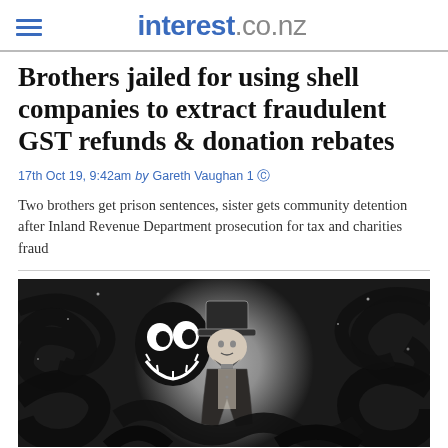interest.co.nz
Brothers jailed for using shell companies to extract fraudulent GST refunds & donation rebates
17th Oct 19, 9:42am by Gareth Vaughan 1
Two brothers get prison sentences, sister gets community detention after Inland Revenue Department prosecution for tax and charities fraud
[Figure (illustration): Dark stylized illustration showing a sinister figure in a top hat surrounded by swirling black tentacles and a grinning creature, in black and white]